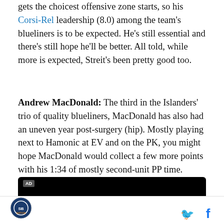Rel leadership (8.0) among the team's blueliners is to be expected. He's still essential and there's still hope he'll be better. All told, while more is expected, Streit's been pretty good too.
Andrew MacDonald: The third in the Islanders' trio of quality blueliners, MacDonald has also had an uneven year post-surgery (hip). Mostly playing next to Hamonic at EV and on the PK, you might hope MacDonald would collect a few more points with his 1:34 of mostly second-unit PP time.
[Figure (other): Honda advertisement banner with black background and Honda logo]
Site logo | Twitter icon | Facebook icon